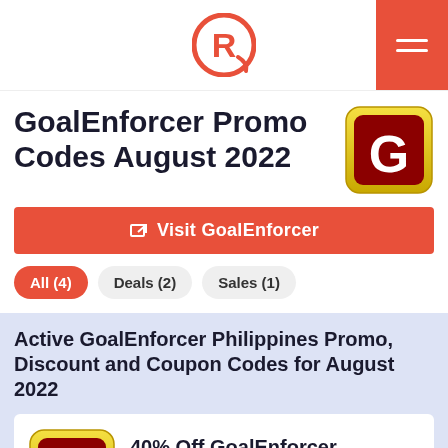Rappler logo and navigation header
GoalEnforcer Promo Codes August 2022
Visit GoalEnforcer
All (4)
Deals (2)
Sales (1)
Active GoalEnforcer Philippines Promo, Discount and Coupon Codes for August 2022
40% Off GoalEnforcer Hyperfocus at GoalEnforcer